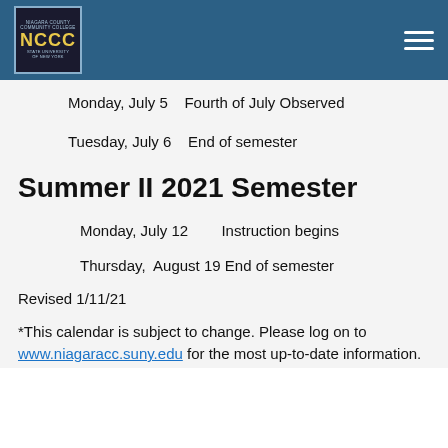NCCC Niagara County Community College — navigation header
Monday, July 5   Fourth of July Observed
Tuesday, July 6   End of semester
Summer II 2021 Semester
Monday, July 12        Instruction begins
Thursday,  August 19  End of semester
Revised 1/11/21
*This calendar is subject to change. Please log on to www.niagaracc.suny.edu for the most up-to-date information.